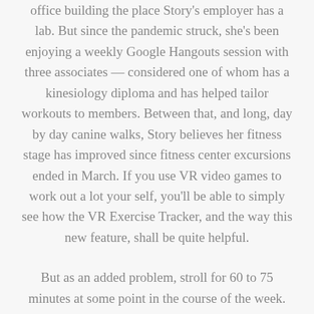office building the place Story's employer has a lab. But since the pandemic struck, she's been enjoying a weekly Google Hangouts session with three associates — considered one of whom has a kinesiology diploma and has helped tailor workouts to members. Between that, and long, day by day canine walks, Story believes her fitness stage has improved since fitness center excursions ended in March. If you use VR video games to work out a lot your self, you'll be able to simply see how the VR Exercise Tracker, and the way this new feature, shall be quite helpful.
But as an added problem, stroll for 60 to 75 minutes at some point in the course of the week. Modern medication has come to appreciate the ...